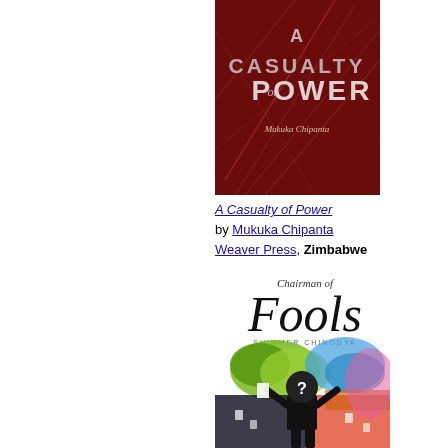[Figure (illustration): Book cover of 'A Casualty of Power' by Mukuka Chipanta. Dark red background with abstract lines. Title text in large bold letters: 'A CASUALTY of POWER'. Author name 'Mukuka Chipanta' in italic script below.]
A Casualty of Power by Mukuka Chipanta Weaver Press, Zimbabwe
[Figure (illustration): Book cover of 'Chairman of Fools' by Shimmer Chinodya. White background with large italic 'Fools' text at top and colorful abstract illustration below showing a figure with a question mark for a head, surrounded by vivid colors.]